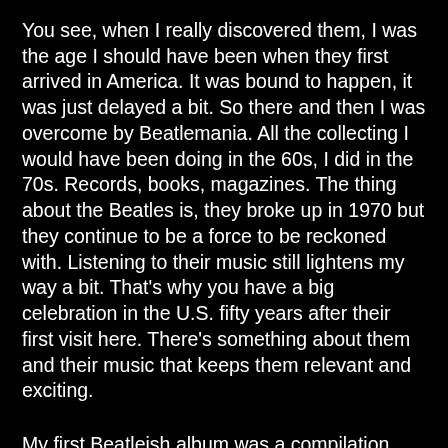You see, when I really discovered them, I was the age I should have been when they first arrived in America. It was bound to happen, it was just delayed a bit. So there and then I was overcome by Beatlemania. All the collecting I would have been doing in the 60s, I did in the 70s. Records, books, magazines. The thing about the Beatles is, they broke up in 1970 but they continue to be a force to be reckoned with. Listening to their music still lightens my way a bit. That's why you have a big celebration in the U.S. fifty years after their first visit here. There's something about them and their music that keeps them relevant and exciting.
My first Beatleish album was a compilation titled Rock and Roll Music. It had some of their earliest music on including, much to my surprise, "Got To Get You Into My Life," which I had only heard performed by Earth Wind and Fire (one of the bands able to adequately cover a Beatles tune). This Beatles version was completely different. I liked it. The album also featured several covers the Beatles did of other songs that illustrated how versatile this band was and cemented my belief that they could take any song and make